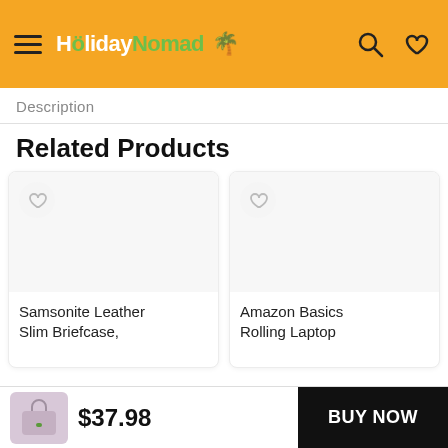[Figure (screenshot): HolidayNomad website header with orange background, hamburger menu, logo, search and wishlist icons]
Description
Related Products
[Figure (other): Product card for Samsonite Leather Slim Briefcase with wishlist heart button]
[Figure (other): Product card for Amazon Basics Rolling Laptop with wishlist heart button]
Samsonite Leather Slim Briefcase,
Amazon Basics Rolling Laptop
$37.98
BUY NOW